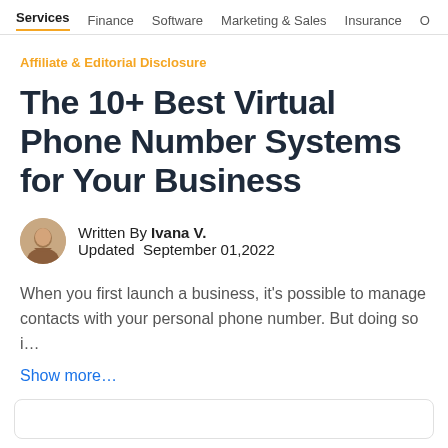Services | Finance | Software | Marketing & Sales | Insurance | O
Affiliate & Editorial Disclosure
The 10+ Best Virtual Phone Number Systems for Your Business
Written By Ivana V.
Updated September 01,2022
When you first launch a business, it's possible to manage contacts with your personal phone number. But doing so i...
Show more…